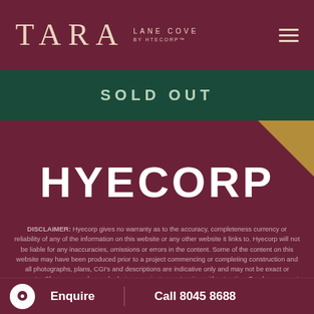[Figure (logo): TARA Lane Cove by HTECORP logo on dark red/maroon header with hamburger menu icon]
SOLD OUT
HYECORP
DISCLAIMER: Hyecorp gives no warranty as to the accuracy, completeness currency or reliability of any of the information on this website or any other website it links to. Hyecorp will not be liable for any inaccuracies, omissions or errors in the content. Some of the content on this website may have been produced prior to a project commencing or completing construction and all photographs, plans, CGI's and descriptions are indicative only and may not be exact or accurate. Changes may be made during a projects construction without notice. Purchasers must rely on their own enquiries. This website is not
Enquire   Call 8045 8688